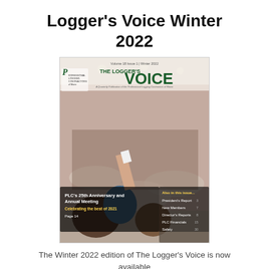Logger's Voice Winter 2022
[Figure (photo): Cover image of The Logger's Voice magazine, Winter 2022 edition. Shows a large gathering of people seated at round tables in a banquet hall. The magazine cover features the title 'THE LOGGER'S VOICE' in large green and dark text, with 'Volume 18 Issue 1 | Winter 2022' at top. A callout box reads 'PLC's 25th Anniversary and Annual Meeting - Celebrating the best of 2021 - Page 14'. A sidebar lists contents: President's Report, New Members, Director's Reports, PLC Financials, Safety. The Professional Logging Contractors of Maine logo appears in the upper left.]
The Winter 2022 edition of The Logger's Voice is now available